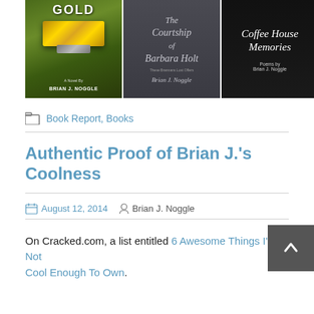[Figure (photo): Three book covers by Brian J. Noggle: a gold bar themed novel, The Courtship of Barbara Holt, and Coffee House Memories (poems)]
Book Report, Books
Authentic Proof of Brian J.'s Coolness
August 12, 2014   Brian J. Noggle
On Cracked.com, a list entitled 6 Awesome Things I'm Not Cool Enough To Own.